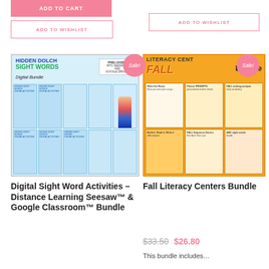ADD TO CART
ADD TO WISHLIST
ADD TO WISHLIST
[Figure (illustration): Hidden Dolch Sight Words Digital Bundle product cover with thumbnails of digital activities and a student character]
[Figure (illustration): Literacy Centers Fall Bundle product cover with orange background, fall theme panels and student character]
Digital Sight Word Activities – Distance Learning Seesaw™ & Google Classroom™ Bundle
Fall Literacy Centers Bundle
$33.50  $26.80
This bundle includes...